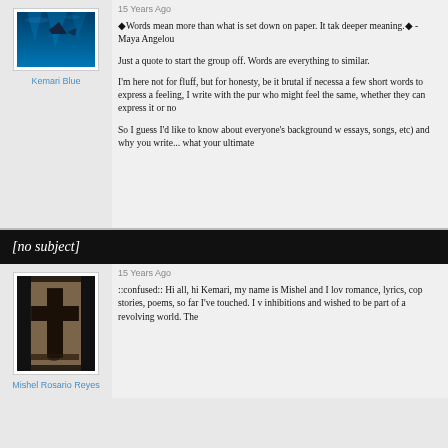[Figure (photo): Avatar image showing a dark blue underwater scene with a shark fin, framed with white border]
Kemari Blue
15 Years Ago
"Words mean more than what is set down on paper. It tak... deeper meaning." - Maya Angelou

Just a quote to start the group off. Words are everything to... similar.

I'm here not for fluff, but for honesty, be it brutal if necessa... a few short words to express a feeling, I write with the pur... who might feel the same, whether they can express it or no...

So I guess I'd like to know about everyone's background w... essays, songs, etc) and why you write... what your ultimate...
[no subject]
[Figure (photo): Avatar image showing a dark cross/crucifix artwork with sepia tones, framed with white border]
Mishel Rosario Reyes
15 Years Ago
::confused:: Hi all, hi Kemari, my name is Mishel and I lov... romance, lyrics, cop stories, poems, so far I've touched. I v... inhibitions and wished to be part of a revolving world. The...